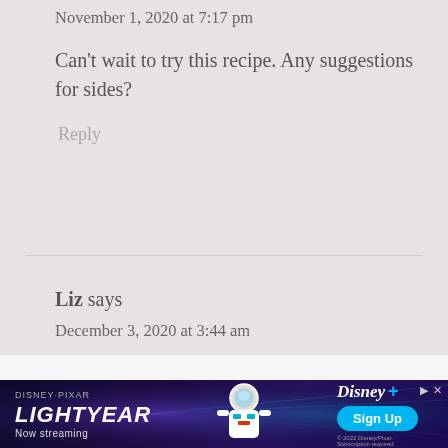November 1, 2020 at 7:17 pm
Can't wait to try this recipe. Any suggestions for sides?
Reply
Liz says
December 3, 2020 at 3:44 am
Can you uses lemongrass paste?
Reply
[Figure (screenshot): Disney Pixar Lightyear Disney+ streaming advertisement banner with Buzz Lightyear character, Sign Up button]